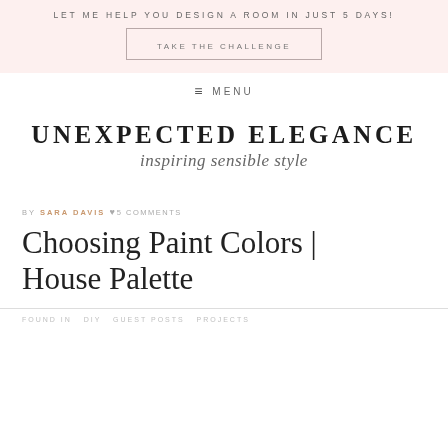LET ME HELP YOU DESIGN A ROOM IN JUST 5 DAYS!
TAKE THE CHALLENGE
≡ MENU
UNEXPECTED ELEGANCE inspiring sensible style
BY SARA DAVIS ♥5 COMMENTS
Choosing Paint Colors | House Palette
FOUND IN DIY GUEST POSTS PROJECTS